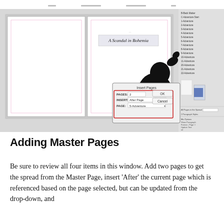[Figure (screenshot): Screenshot of a desktop publishing application (InDesign) showing a page spread with a book layout titled 'A Scandal in Bohemia' and an 'Insert Pages' dialog box with fields for Pages: 2, Insert: After Page, with a page master dropdown. A silhouette of a person's hand/figure is visible on the right page. The right panel shows a list of master pages named 'A-Adventure' through '22-Adventure'.]
Adding Master Pages
Be sure to review all four items in this window. Add two pages to get the spread from the Master Page, insert 'After' the current page which is referenced based on the page selected, but can be updated from the drop-down, and